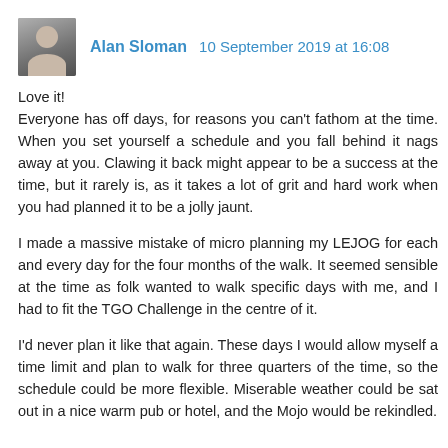Alan Sloman  10 September 2019 at 16:08
Love it!
Everyone has off days, for reasons you can't fathom at the time. When you set yourself a schedule and you fall behind it nags away at you. Clawing it back might appear to be a success at the time, but it rarely is, as it takes a lot of grit and hard work when you had planned it to be a jolly jaunt.
I made a massive mistake of micro planning my LEJOG for each and every day for the four months of the walk. It seemed sensible at the time as folk wanted to walk specific days with me, and I had to fit the TGO Challenge in the centre of it.
I'd never plan it like that again. These days I would allow myself a time limit and plan to walk for three quarters of the time, so the schedule could be more flexible. Miserable weather could be sat out in a nice warm pub or hotel, and the Mojo would be rekindled.